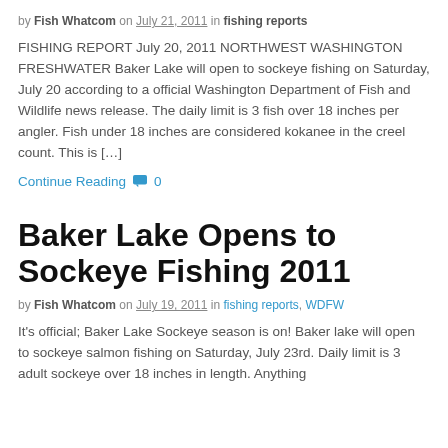by Fish Whatcom on July 21, 2011 in fishing reports
FISHING REPORT July 20, 2011 NORTHWEST WASHINGTON FRESHWATER Baker Lake will open to sockeye fishing on Saturday, July 20 according to a official Washington Department of Fish and Wildlife news release. The daily limit is 3 fish over 18 inches per angler. Fish under 18 inches are considered kokanee in the creel count. This is […]
Continue Reading 0
Baker Lake Opens to Sockeye Fishing 2011
by Fish Whatcom on July 19, 2011 in fishing reports, WDFW
It's official; Baker Lake Sockeye season is on! Baker lake will open to sockeye salmon fishing on Saturday, July 23rd. Daily limit is 3 adult sockeye over 18 inches in length. Anything